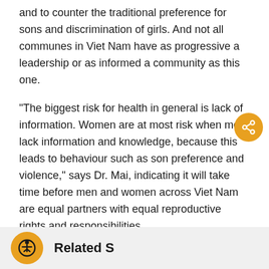and to counter the traditional preference for sons and discrimination of girls. And not all communes in Viet Nam have as progressive a leadership or as informed a community as this one.
“The biggest risk for health in general is lack of information. Women are at most risk when men lack information and knowledge, because this leads to behaviour such as son preference and violence,” says Dr. Mai, indicating it will take time before men and women across Viet Nam are equal partners with equal reproductive rights and responsibilities.
– Laura Vinha
[Figure (other): Orange circular share button with share/network icon in white]
[Figure (other): Orange circular accessibility icon button in footer bar]
Related S...